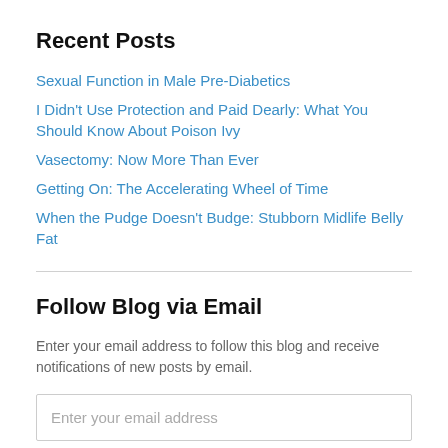Recent Posts
Sexual Function in Male Pre-Diabetics
I Didn't Use Protection and Paid Dearly: What You Should Know About Poison Ivy
Vasectomy: Now More Than Ever
Getting On: The Accelerating Wheel of Time
When the Pudge Doesn't Budge: Stubborn Midlife Belly Fat
Follow Blog via Email
Enter your email address to follow this blog and receive notifications of new posts by email.
Enter your email address
Follow
Join 1,059 other followers